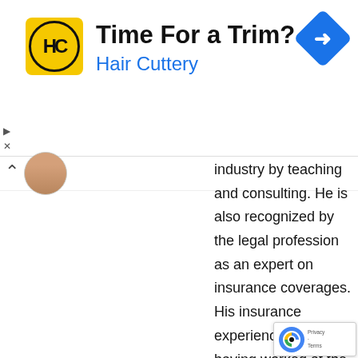[Figure (infographic): Hair Cuttery advertisement banner with yellow logo, navigation icon, and text 'Time For a Trim?' and 'Hair Cuttery']
industry by teaching and consulting. He is also recognized by the legal profession as an expert on insurance coverages. His insurance experience includes having worked at the company level, owned an independent general agency and having worked for an insurance association. He has received various certificates over the past few years and helps his clients and readers by giving them a realistic outlook on what they can expect to achieve within their set targets. At Insurance Noon, he is known for his in-depth analysis and attention to details with accuracy. He has been published as one of the most referred experts by his peers in the